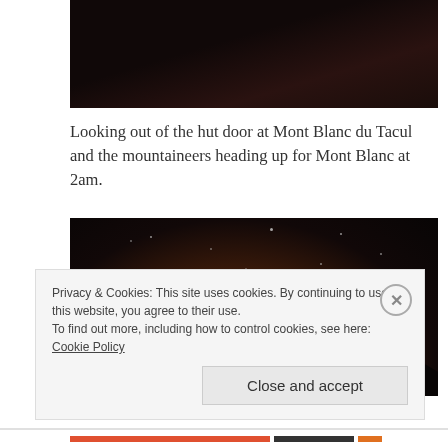[Figure (photo): Dark night photo of Mont Blanc du Tacul hut area, very dark with silhouette of rock]
Looking out of the hut door at Mont Blanc du Tacul and the mountaineers heading up for Mont Blanc at 2am.
[Figure (photo): Night sky photo showing stars and a glowing orange-warm horizon with moon glow and mountain silhouette]
Privacy & Cookies: This site uses cookies. By continuing to use this website, you agree to their use.
To find out more, including how to control cookies, see here: Cookie Policy
Close and accept